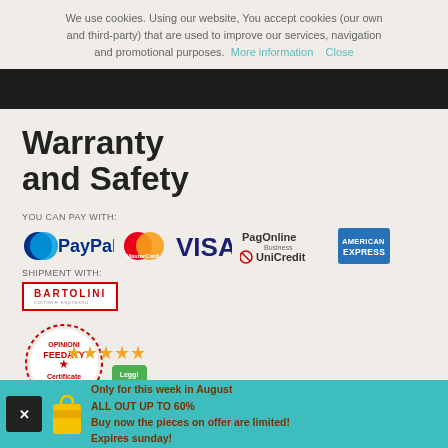We use cookies. Using our website, You accept cookies (our own and third-party) that are used to improve our services, navigation and promotional purposes. More information  Close
[Figure (screenshot): Dark navigation bar]
Warranty
and Safety
YOU CAN PAY WITH:
[Figure (logo): Payment logos: PayPal, MasterCard, VISA, PagOnline Business UniCredit, American Express]
SHIPMENT WITH:
[Figure (logo): Bartolini corriere espresso shipment logo]
[Figure (logo): Feedaty Opinioni Certificate review badge with stars and Leggi tutte button]
Only for this week in August
ALL OUT UP TO 60%
Buy now the pieces on offer are limited!
Expires sunday!